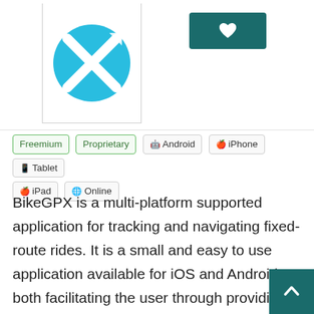[Figure (logo): BikeGPX app logo: cyan/blue circle with white X-shaped bicycle pump icon]
[Figure (other): Dark teal heart/favorite button]
Freemium  Proprietary  Android  iPhone  Tablet  iPad  Online
BikeGPX is a multi-platform supported application for tracking and navigating fixed-route rides. It is a small and easy to use application available for iOS and Android both facilitating the user through providing an online as well as offline maps, drop-pin feature, GPX file support, importing/exporting the information files to storage, integrity with othe